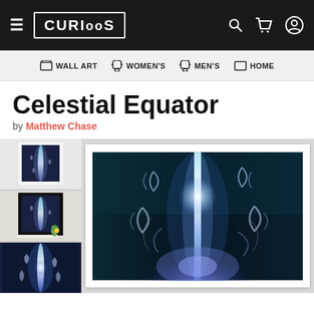CURIOOS — WALL ART | WOMEN'S | MEN'S | HOME
Celestial Equator
by Matthew Chase
[Figure (photo): Three thumbnail previews of the 'Celestial Equator' artwork by Matthew Chase — first in a white frame, second in a black frame with a cactus prop, third a close-up of the artwork. Alongside a large main product image showing the artwork in a white mat/frame: a vertical glowing blue-white beam with crescent moon shapes and ethereal wispy forms on a dark teal-black background.]